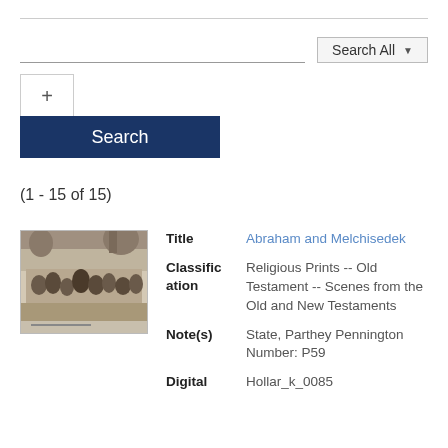[Figure (screenshot): Search interface with text input, Search All dropdown button, plus button, and Search button]
(1 - 15 of 15)
[Figure (photo): Thumbnail image of artwork: Abraham and Melchisedek - a historical engraving showing figures in a crowd scene]
| Field | Value |
| --- | --- |
| Title | Abraham and Melchisedek |
| Classification | Religious Prints -- Old Testament -- Scenes from the Old and New Testaments |
| Note(s) | State, Parthey Pennington Number: P59 |
| Digital | Hollar_k_0085 |